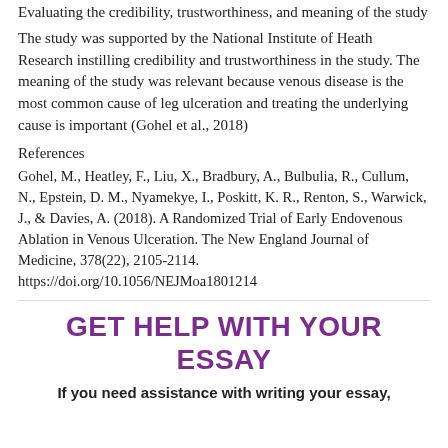Evaluating the credibility, trustworthiness, and meaning of the study
The study was supported by the National Institute of Heath Research instilling credibility and trustworthiness in the study. The meaning of the study was relevant because venous disease is the most common cause of leg ulceration and treating the underlying cause is important (Gohel et al., 2018)
References
Gohel, M., Heatley, F., Liu, X., Bradbury, A., Bulbulia, R., Cullum, N., Epstein, D. M., Nyamekye, I., Poskitt, K. R., Renton, S., Warwick, J., & Davies, A. (2018). A Randomized Trial of Early Endovenous Ablation in Venous Ulceration. The New England Journal of Medicine, 378(22), 2105-2114. https://doi.org/10.1056/NEJMoa1801214
GET HELP WITH YOUR ESSAY
If you need assistance with writing your essay,